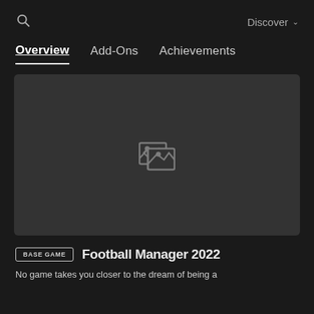Discover
Overview | Add-Ons | Achievements
[Figure (screenshot): Dark placeholder image area with a broken image icon in the center]
BASE GAME  Football Manager 2022
No game takes you closer to the dream of being a